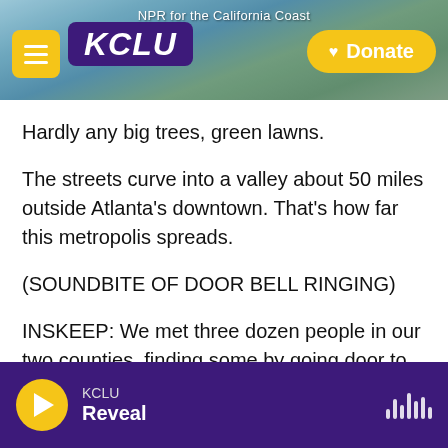KCLU — NPR for the California Coast
Hardly any big trees, green lawns.
The streets curve into a valley about 50 miles outside Atlanta's downtown. That's how far this metropolis spreads.
(SOUNDBITE OF DOOR BELL RINGING)
INSKEEP: We met three dozen people in our two counties, finding some by going door to door.
Hi there. Sorry to bother you. We're journalists with NPR - National Public Radio.
KCLU — Reveal